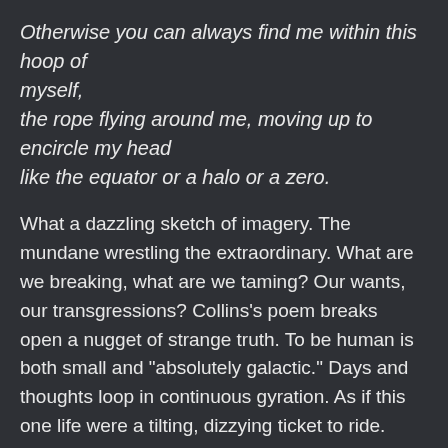Otherwise you can always find me within this hoop of
myself,
the rope flying around me, moving up to encircle my head
like the equator or a halo or a zero.
What a dazzling sketch of imagery. The mundane wrestling the extraordinary. What are we breaking, what are we taming? Our wants, our transgressions? Collins's poem breaks open a nugget of strange truth. To be human is both small and "absolutely galactic." Days and thoughts loop in continuous gyration. As if this one life were a tilting, dizzying ticket to ride.
We soon will end one year and begin another and I